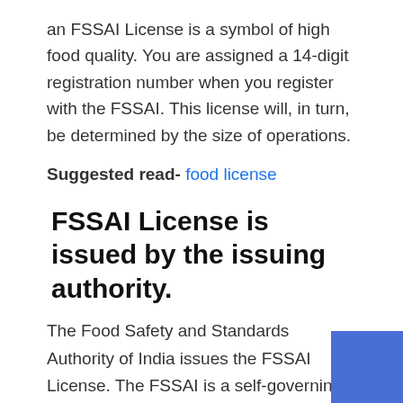an FSSAI License is a symbol of high food quality. You are assigned a 14-digit registration number when you register with the FSSAI. This license will, in turn, be determined by the size of operations.
Suggested read- food license
FSSAI License is issued by the issuing authority.
The Food Safety and Standards Authority of India issues the FSSAI License. The FSSAI is a self-governing institution established by the Ministry of Health and Family Welfare of the Government of India. It was founded under the Food Safety and Standards Act of 2006 (FSSA Act of 2016), which is a consolidated statute in India governing food safety and regulation. The FSSAI is primarily responsible for the preservation and promotion of public health through its key tasks of food safety